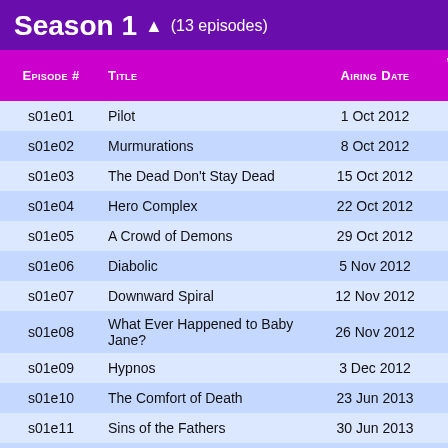Season 1 ▲ (13 episodes)
| Episode # | Title | Airing Date | Watched All / None |
| --- | --- | --- | --- |
| s01e01 | Pilot | 1 Oct 2012 | ☐ |
| s01e02 | Murmurations | 8 Oct 2012 | ☐ |
| s01e03 | The Dead Don't Stay Dead | 15 Oct 2012 | ☐ |
| s01e04 | Hero Complex | 22 Oct 2012 | ☐ |
| s01e05 | A Crowd of Demons | 29 Oct 2012 | ☐ |
| s01e06 | Diabolic | 5 Nov 2012 | ☐ |
| s01e07 | Downward Spiral | 12 Nov 2012 | ☐ |
| s01e08 | What Ever Happened to Baby Jane? | 26 Nov 2012 | ☐ |
| s01e09 | Hypnos | 3 Dec 2012 | ☐ |
| s01e10 | The Comfort of Death | 23 Jun 2013 | ☐ |
| s01e11 | Sins of the Fathers | 30 Jun 2013 | ☐ |
| s01e12 | The Elysian Fields | 7 Jul 2013 | ☐ |
| s01e13 | Lazarus: Part 1 | 14 Jul 2013 | ☐ |